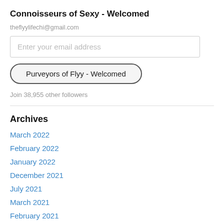Connoisseurs of Sexy - Welcomed
theflyylifechi@gmail.com
Enter your email address
Purveyors of Flyy - Welcomed
Join 38,955 other followers
Archives
March 2022
February 2022
January 2022
December 2021
July 2021
March 2021
February 2021